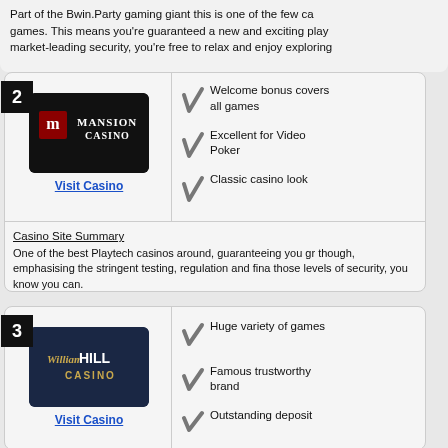Part of the Bwin.Party gaming giant this is one of the few ca games. This means you're guaranteed a new and exciting play market-leading security, you're free to relax and enjoy exploring
[Figure (logo): Mansion Casino logo - white text on black background with red M icon]
Welcome bonus covers all games
Excellent for Video Poker
Classic casino look
Visit Casino
Casino Site Summary
One of the best Playtech casinos around, guaranteeing you gr though, emphasising the stringent testing, regulation and fina those levels of security, you know you can.
[Figure (logo): William Hill Casino logo - gold script and white text on dark navy background]
Huge variety of games
Famous trustworthy brand
Outstanding deposit
Visit Casino